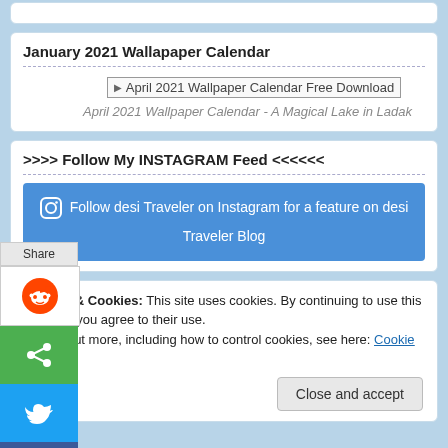January 2021 Wallapaper Calendar
[Figure (illustration): Broken image placeholder for April 2021 Wallpaper Calendar Free Download]
April 2021 Wallpaper Calendar - A Magical Lake in Ladak
>>>> Follow My INSTAGRAM Feed <<<<<<
Follow desi Traveler on Instagram for a feature on desi Traveler Blog
Privacy & Cookies: This site uses cookies. By continuing to use this website, you agree to their use. To find out more, including how to control cookies, see here: Cookie Policy